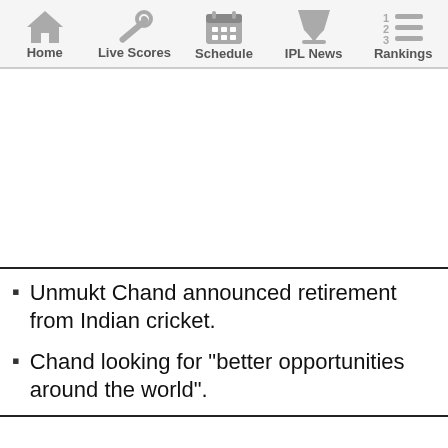Home | Live Scores | Schedule | IPL News | Rankings
[Figure (other): Advertisement area (blank white space)]
Unmukt Chand announced retirement from Indian cricket.
Chand looking for "better opportunities around the world".